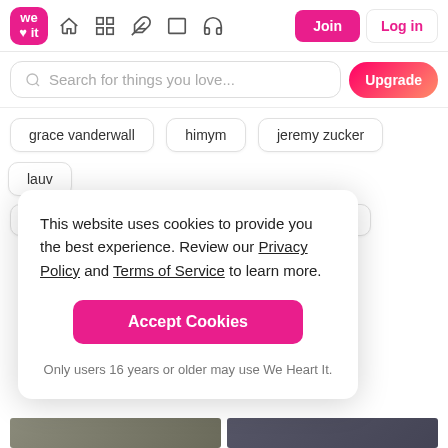We Heart It – Navigation bar with Join and Log in buttons
Search for things you love...
grace vanderwall
himym
jeremy zucker
lauv
me
music
ruel
sleep
sleeping
This website uses cookies to provide you the best experience. Review our Privacy Policy and Terms of Service to learn more.
Accept Cookies
Only users 16 years or older may use We Heart It.
Similar articles
[Figure (photo): Two thumbnail photos at the bottom of the page]